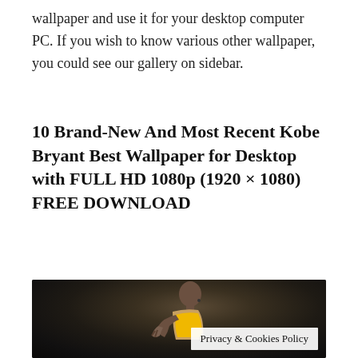wallpaper and use it for your desktop computer PC. If you wish to know various other wallpaper, you could see our gallery on sidebar.
10 Brand-New And Most Recent Kobe Bryant Best Wallpaper for Desktop with FULL HD 1080p (1920 × 1080) FREE DOWNLOAD
[Figure (photo): Photo of Kobe Bryant in a Lakers jersey raising fingers, dark bokeh background]
Privacy & Cookies Policy